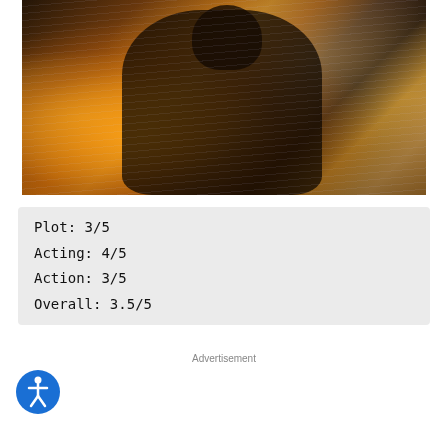[Figure (photo): Action movie still: a bearded man in a dark t-shirt holds a weapon (shotgun/rifle) in a dramatic pose with fire and rain effects around him, warm orange and amber lighting]
Plot: 3/5
Acting: 4/5
Action: 3/5
Overall: 3.5/5
Advertisement
[Figure (logo): Accessibility icon: blue circle with white universal accessibility human figure symbol]